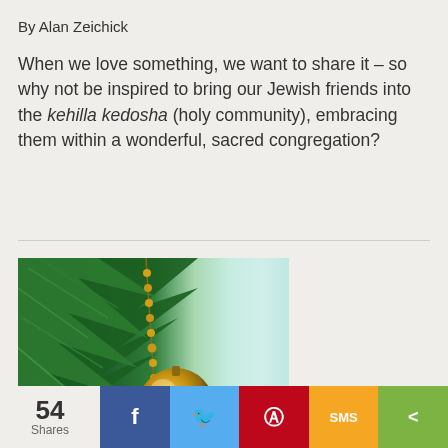By Alan Zeichick
When we love something, we want to share it – so why not be inspired to bring our Jewish friends into the kehilla kedosha (holy community), embracing them within a wonderful, sacred congregation?
[Figure (photo): Christmas tree branch with golden ornament ball and bead chain against light blue background, with green color bar at bottom]
54 Shares | Facebook | Twitter | Pinterest | SMS | Share